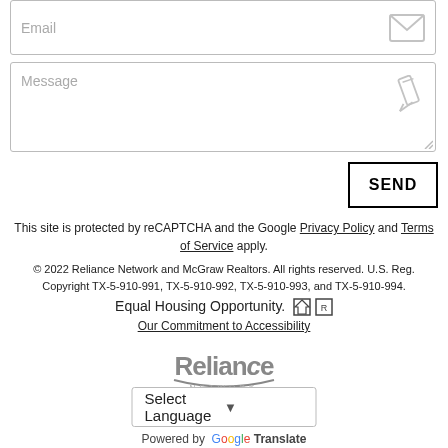[Figure (screenshot): Email input field with placeholder text 'Email' and envelope icon on the right]
[Figure (screenshot): Message textarea with placeholder text 'Message', pencil icon, and resize handle]
[Figure (screenshot): SEND button with black border]
This site is protected by reCAPTCHA and the Google Privacy Policy and Terms of Service apply.
© 2022 Reliance Network and McGraw Realtors. All rights reserved. U.S. Reg. Copyright TX-5-910-991, TX-5-910-992, TX-5-910-993, and TX-5-910-994.
Equal Housing Opportunity. [icons]
Our Commitment to Accessibility
[Figure (logo): Reliance Network logo in gray]
[Figure (screenshot): Select Language dropdown]
Powered by Google Translate